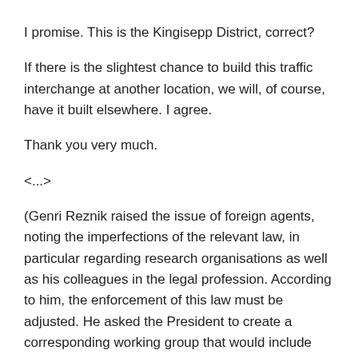I promise. This is the Kingisepp District, correct?
If there is the slightest chance to build this traffic interchange at another location, we will, of course, have it built elsewhere. I agree.
Thank you very much.
<...>
(Genri Reznik raised the issue of foreign agents, noting the imperfections of the relevant law, in particular regarding research organisations as well as his colleagues in the legal profession. According to him, the enforcement of this law must be adjusted. He asked the President to create a corresponding working group that would include representatives of professional communities: the academic community, the media community, politicians and State Duma members. Genri Reznik disagreed with the premise that Russia had